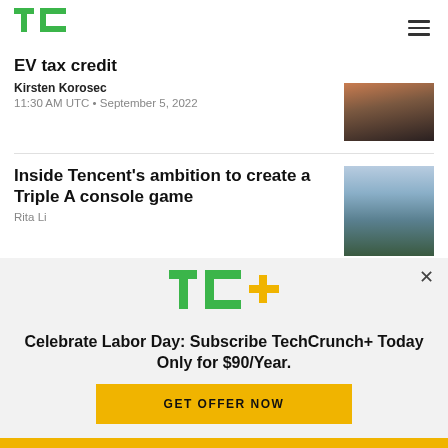TechCrunch
EV tax credit
Kirsten Korosec
11:30 AM UTC • September 5, 2022
[Figure (photo): EV article thumbnail image]
Inside Tencent's ambition to create a Triple A console game
Rita Liao
[Figure (photo): Tencent article thumbnail - building exterior]
[Figure (infographic): TechCrunch+ subscription promotion overlay: TC+ logo, Celebrate Labor Day: Subscribe TechCrunch+ Today Only for $90/Year. GET OFFER NOW button]
Yellow footer bar